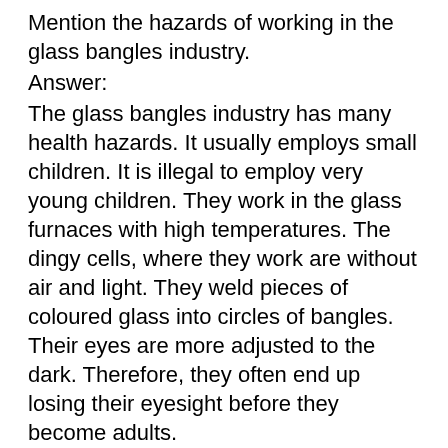Mention the hazards of working in the glass bangles industry.
Answer:
The glass bangles industry has many health hazards. It usually employs small children. It is illegal to employ very young children. They work in the glass furnaces with high temperatures. The dingy cells, where they work are without air and light. They weld pieces of coloured glass into circles of bangles. Their eyes are more adjusted to the dark. Therefore, they often end up losing their eyesight before they become adults.